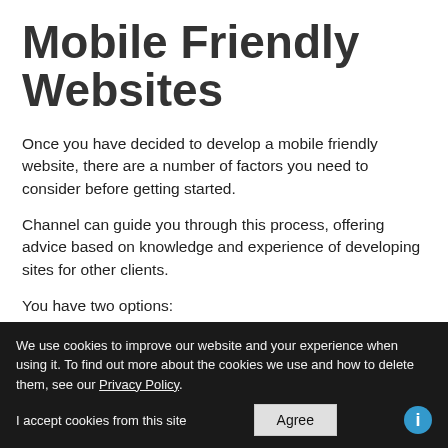Mobile Friendly Websites
Once you have decided to develop a mobile friendly website, there are a number of factors you need to consider before getting started.
Channel can guide you through this process, offering advice based on knowledge and experience of developing sites for other clients.
You have two options:
Build a new website specifically for mobile phones
Modify your existing website to be compatible
We use cookies to improve our website and your experience when using it. To find out more about the cookies we use and how to delete them, see our Privacy Policy.
I accept cookies from this site  [Agree]